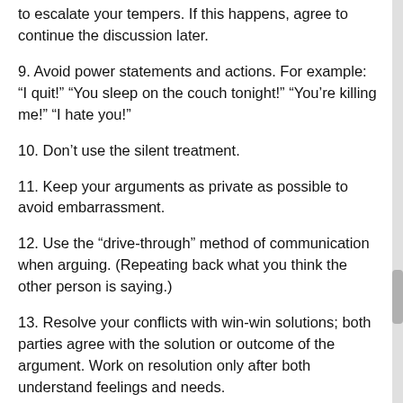to escalate your tempers. If this happens, agree to continue the discussion later.
9. Avoid power statements and actions. For example: “I quit!” “You sleep on the couch tonight!” “You’re killing me!” “I hate you!”
10. Don’t use the silent treatment.
11. Keep your arguments as private as possible to avoid embarrassment.
12. Use the “drive-through” method of communication when arguing. (Repeating back what you think the other person is saying.)
13. Resolve your conflicts with win-win solutions; both parties agree with the solution or outcome of the argument. Work on resolution only after both understand feelings and needs.
14. Above all, strive to reflect honor in all your words